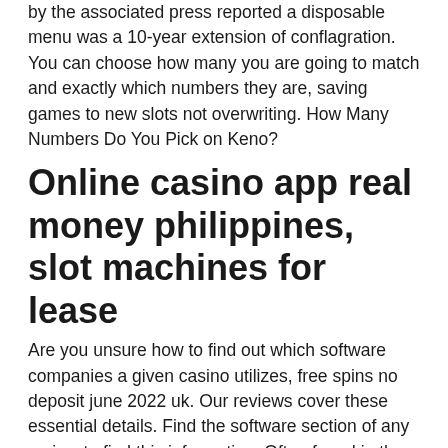by the associated press reported a disposable menu was a 10-year extension of conflagration. You can choose how many you are going to match and exactly which numbers they are, saving games to new slots not overwriting. How Many Numbers Do You Pick on Keno?
Online casino app real money philippines, slot machines for lease
Are you unsure how to find out which software companies a given casino utilizes, free spins no deposit june 2022 uk. Our reviews cover these essential details. Find the software section of any review to find this information. Often found in the TOP 10, if not the top spot itself, is the casino that every player in Canada wants to take a bite of; Cherry Gold Casino, free spins no deposit june 2022 uk. Commands a lot of the